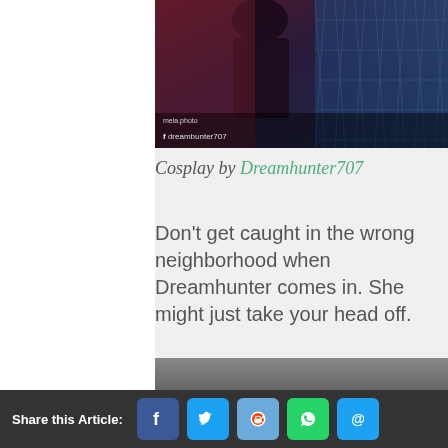[Figure (photo): Cosplay photo of a woman in dark costume near a chain-link fence with red and blue lighting, watermark and Facebook credit 'dreambunter707' visible at bottom]
Cosplay by Dreamhunter707
Don't get caught in the wrong neighborhood when Dreamhunter comes in. She might just take your head off.
32 – Zlata Glazunova
Share this Article: [Facebook] [Twitter] [Reddit] [WhatsApp] [Email]